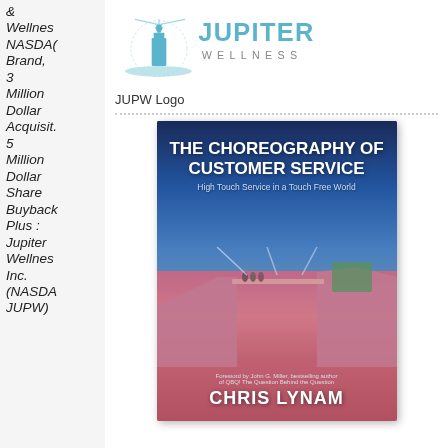& Wellness NASDAQ Brand, 3 Million Dollar Acquisition, 5 Million Dollar Share Buyback Plus : Jupiter Wellness Inc. (NASDAQ JUPW)
[Figure (logo): Jupiter Wellness logo with lighthouse icon and 'JUPITER WELLNESS' text in blue]
JUPW Logo
[Figure (photo): Book cover: 'The Choreography of Customer Service - High Touch Service in a Touch Free World' by Chris Lynam, with foreword by John G. Miller]